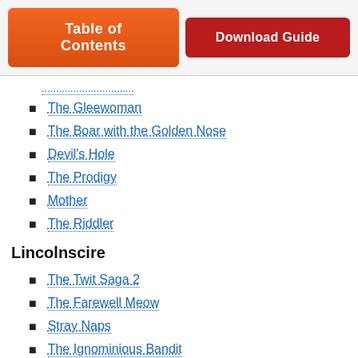Table of Contents | Download Guide
The Gleewoman
The Boar with the Golden Nose
Devil's Hole
The Prodigy
Mother
The Riddler
Lincolnscire
The Twit Saga 2
The Farewell Meow
Stray Naps
The Ignominious Bandit
The Fake Fold...